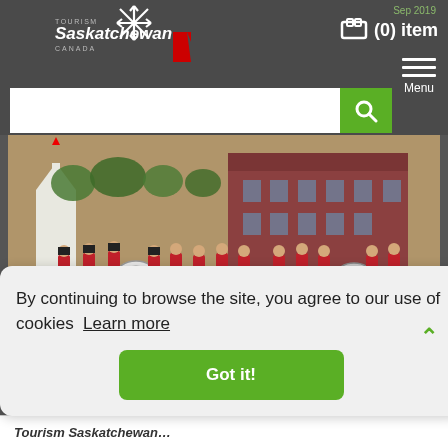Tourism Saskatchewan CANADA — Sep 2019 — (0) item — Menu
[Figure (screenshot): Tourism Saskatchewan website header with logo, date Sep 2019, cart showing (0) item, hamburger menu, and search bar]
[Figure (photo): Marching band in red uniforms performing in a town square, spectators watching, red brick building in background]
By continuing to browse the site, you agree to our use of cookies  Learn more
Got it!
Tourism Saskatchewan (partial heading at bottom)